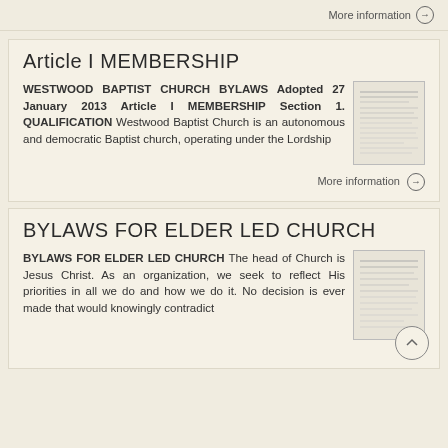More information →
Article I MEMBERSHIP
WESTWOOD BAPTIST CHURCH BYLAWS Adopted 27 January 2013 Article I MEMBERSHIP Section 1. QUALIFICATION Westwood Baptist Church is an autonomous and democratic Baptist church, operating under the Lordship
More information →
BYLAWS FOR ELDER LED CHURCH
BYLAWS FOR ELDER LED CHURCH The head of Church is Jesus Christ. As an organization, we seek to reflect His priorities in all we do and how we do it. No decision is ever made that would knowingly contradict